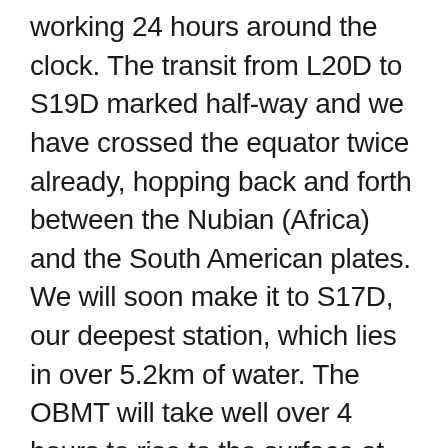working 24 hours around the clock. The transit from L20D to S19D marked half-way and we have crossed the equator twice already, hopping back and forth between the Nubian (Africa) and the South American plates. We will soon make it to S17D, our deepest station, which lies in over 5.2km of water. The OBMT will take well over 4 hours to rise to the surface at this station.
Finding an instrument when it pops up at the surface can be a bit of an adventure. All instruments are fitted with a bright orange flag, a strobe light and some sort of radio communication that indicates it is on the surface. And, the transducer can be used to monitor the distance to the instrument as it rises. Despite all this, things can go wrong. We have had